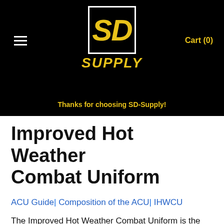SD SUPPLY | Cart (0)
Thanks for choosing SD-Supply!
Improved Hot Weather Combat Uniform
ACU Guide| Composition of the ACU| IHWCU
The Improved Hot Weather Combat Uniform is the